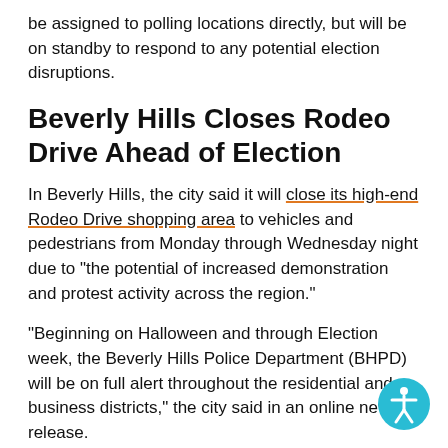The Fresno County Sheriff's Office said its personnel won't be assigned to polling locations directly, but will be on standby to respond to any potential election disruptions.
Beverly Hills Closes Rodeo Drive Ahead of Election
In Beverly Hills, the city said it will close its high-end Rodeo Drive shopping area to vehicles and pedestrians from Monday through Wednesday night due to "the potential of increased demonstration and protest activity across the region."
"Beginning on Halloween and through Election week, the Beverly Hills Police Department (BHPD) will be on full alert throughout the residential and business districts," the city said in an online news release.
As of Monday, no similar steps have been announced in the